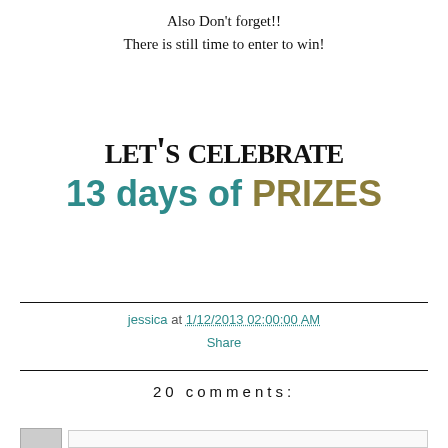Also Don't forget!!
There is still time to enter to win!
[Figure (illustration): Decorative graphic showing 'let's celebrate 13 days of PRIZES' in stylized mixed fonts — cursive/playful black font for 'let's celebrate' and bold teal/olive font for '13 days of PRIZES']
jessica at 1/12/2013 02:00:00 AM
Share
20 comments: